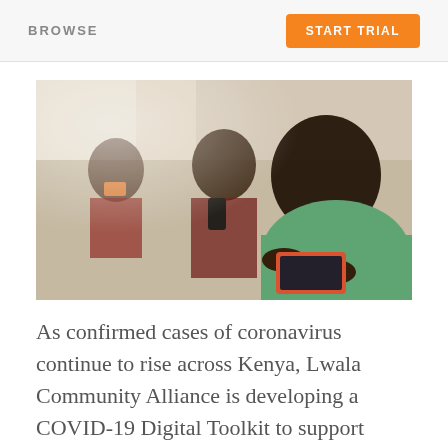BROWSE | START TRIAL
[Figure (photo): Two or three African women/people sitting together, one in the foreground wearing a green shirt, holding a tablet/phone and looking down at it, another behind holding a phone, in a classroom or community setting]
As confirmed cases of coronavirus continue to rise across Kenya, Lwala Community Alliance is developing a COVID-19 Digital Toolkit to support